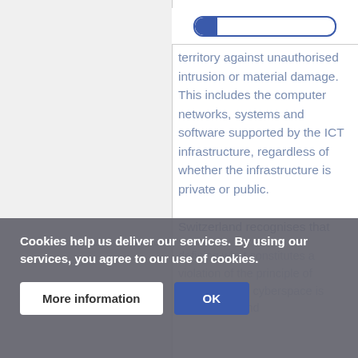[Figure (other): Progress bar at top of right panel, partially filled blue indicator on white background with blue border]
territory against unauthorised intrusion or material damage. This includes the computer networks, systems and software supported by the ICT infrastructure, regardless of whether the infrastructure is private or public.

Switzerland recognises that defining what constitutes a violation of the principle of sovereignty in cyberspace is challenging and
Cookies help us deliver our services. By using our services, you agree to our use of cookies.
More information
OK